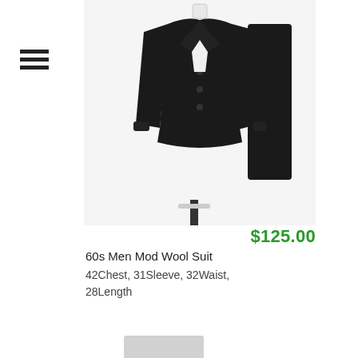[Figure (photo): Black men's mod wool suit displayed on a headless mannequin, showing a black blazer with three buttons and matching black trousers]
$125.00
60s Men Mod Wool Suit
42Chest, 31Sleeve, 32Waist, 28Length